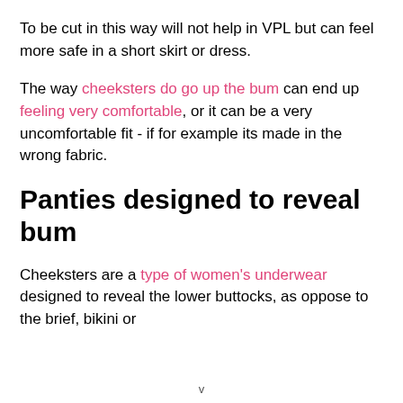To be cut in this way will not help in VPL but can feel more safe in a short skirt or dress.
The way cheeksters do go up the bum can end up feeling very comfortable, or it can be a very uncomfortable fit - if for example its made in the wrong fabric.
Panties designed to reveal bum
Cheeksters are a type of women's underwear designed to reveal the lower buttocks, as oppose to the brief, bikini or
v